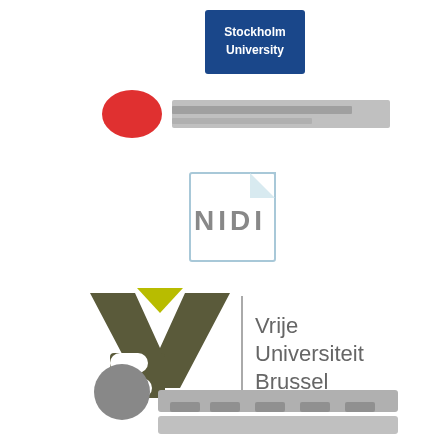[Figure (logo): Stockholm University logo - blue rectangular badge with white text reading 'Stockholm University']
[Figure (logo): Blurred/redacted logo with red circular element on left and blurred text/bar on right]
[Figure (logo): NIDI logo - gray text 'NIDI' with light blue rectangular outline/frame behind it]
[Figure (logo): Vrije Universiteit Brussel logo - dark olive/khaki VUB monogram with yellow-green triangle on top, vertical bar separator, and text 'Vrije Universiteit Brussel' in gray]
[Figure (logo): Blurred/redacted logos at bottom - one circular dark element on left and a row of blurred logos/text across the bottom]